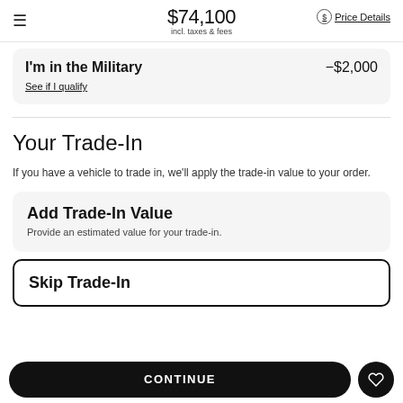$74,100 incl. taxes & fees — Price Details
I'm in the Military — -$2,000
See if I qualify
Your Trade-In
If you have a vehicle to trade in, we'll apply the trade-in value to your order.
Add Trade-In Value
Provide an estimated value for your trade-in.
Skip Trade-In
CONTINUE